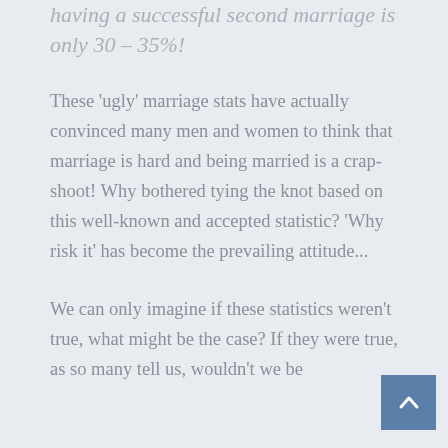having a successful second marriage is only  30 – 35%!
These ‘ugly’ marriage stats have actually convinced many men and women to think that marriage is hard and being married is a crap-shoot! Why bothered tying the knot based on this well-known and accepted statistic?  ‘Why risk it’ has become the prevailing attitude...
We can only imagine if these statistics weren’t true, what might be the case? If they were true, as so many tell us, wouldn’t we be